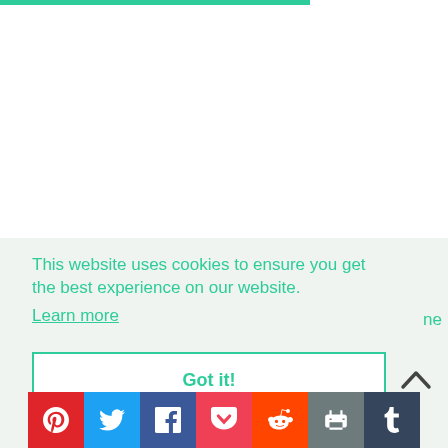This website uses cookies to ensure you get the best experience on our website.
Learn more
Got it!
[Figure (infographic): Social sharing buttons: Pinterest, Twitter, Facebook, Pocket, Reddit, Print, Tumblr]